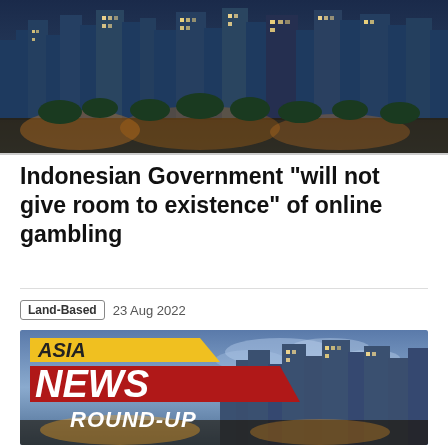[Figure (photo): Aerial night/dusk cityscape of a dense Asian city with skyscrapers and trees]
Indonesian Government “will not give room to existence” of online gambling
Land-Based   23 Aug 2022
[Figure (infographic): Asia News Round-Up banner over a night cityscape photo]